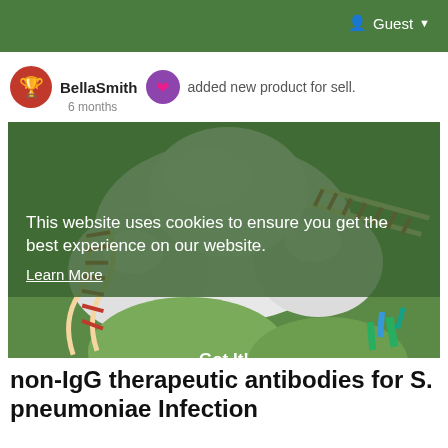Guest
BellaSmith added new product for sell.
6 months
[Figure (illustration): 3D molecular rendering of an antibody structure interacting with DNA strands on a green background, showing white protein surface with red and cream-colored DNA helices]
This website uses cookies to ensure you get the best experience on our website. Learn More
Got It!
non-IgG therapeutic antibodies for S. pneumoniae Infection